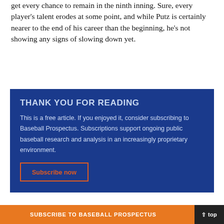get every chance to remain in the ninth inning. Sure, every player's talent erodes at some point, and while Putz is certainly nearer to the end of his career than the beginning, he's not showing any signs of slowing down yet.
THANK YOU FOR READING
This is a free article. If you enjoyed it, consider subscribing to Baseball Prospectus. Subscriptions support ongoing public baseball research and analysis in an increasingly proprietary environment.
Subscribe now
SUBSCRIBE TO BASEBALL PROSPECTUS